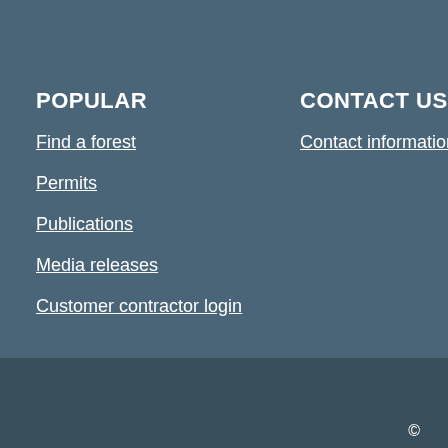POPULAR
Find a forest
Permits
Publications
Media releases
Customer contractor login
CONTACT US
Contact information
©